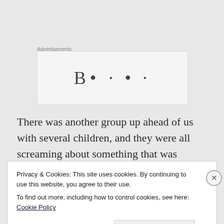Advertisements
[Figure (other): Advertisement banner placeholder with partially visible bold text]
There was another group up ahead of us with several children, and they were all screaming about something that was going to get them...
And then I woke up
Privacy & Cookies: This site uses cookies. By continuing to use this website, you agree to their use.
To find out more, including how to control cookies, see here: Cookie Policy
Close and accept